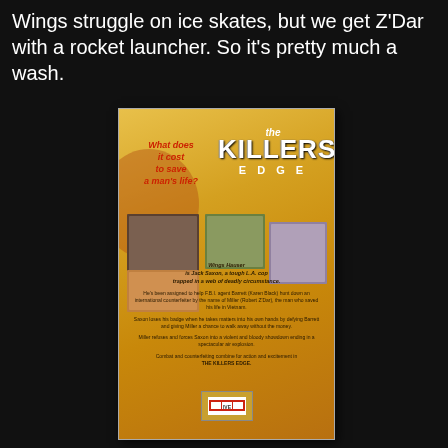Wings struggle on ice skates, but we get Z'Dar with a rocket launcher. So it's pretty much a wash.
[Figure (photo): VHS box cover for 'The Killers Edge' featuring tagline 'What does it cost to save a man's life?', movie stills of action scenes, and descriptive back-cover text about Wings Hauser as Jack Saxon, a tough L.A. cop.]